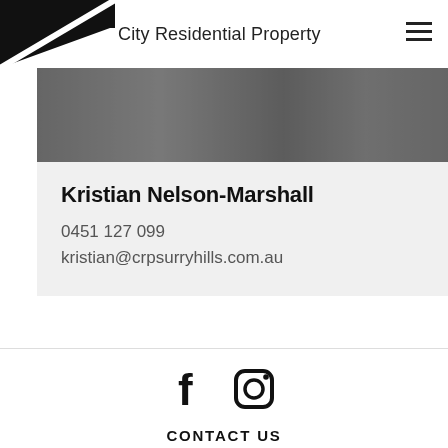City Residential Property
[Figure (photo): Street scene photo strip showing a person walking in an urban setting]
Kristian Nelson-Marshall
0451 127 099
kristian@crpsurryhills.com.au
[Figure (illustration): Facebook and Instagram social media icons]
CONTACT US